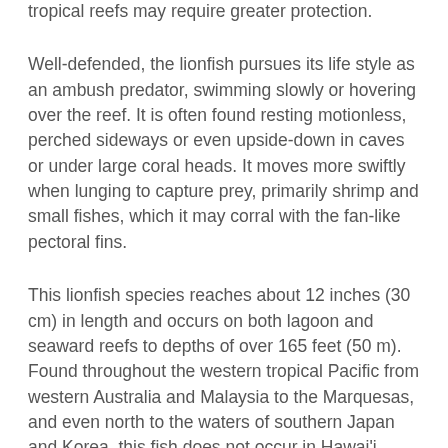relative (Pterois sphex), possibly because the larger number of potential predators on more tropical reefs may require greater protection.
Well-defended, the lionfish pursues its life style as an ambush predator, swimming slowly or hovering over the reef. It is often found resting motionless, perched sideways or even upside-down in caves or under large coral heads. It moves more swiftly when lunging to capture prey, primarily shrimp and small fishes, which it may corral with the fan-like pectoral fins.
This lionfish species reaches about 12 inches (30 cm) in length and occurs on both lagoon and seaward reefs to depths of over 165 feet (50 m). Found throughout the western tropical Pacific from western Australia and Malaysia to the Marquesas, and even north to the waters of southern Japan and Korea, this fish does not occur in Hawai'i. Because of its extreme toxicity, it is unlawful to import this fish into the state of Hawaii to protect its from the Species...